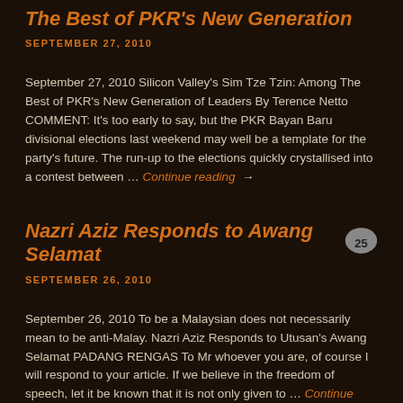The Best of PKR's New Generation
SEPTEMBER 27, 2010
September 27, 2010 Silicon Valley's Sim Tze Tzin: Among The Best of PKR's New Generation of Leaders By Terence Netto COMMENT: It's too early to say, but the PKR Bayan Baru divisional elections last weekend may well be a template for the party's future. The run-up to the elections quickly crystallised into a contest between … Continue reading →
Nazri Aziz Responds to Awang Selamat
SEPTEMBER 26, 2010
September 26, 2010 To be a Malaysian does not necessarily mean to be anti-Malay. Nazri Aziz Responds to Utusan's Awang Selamat PADANG RENGAS To Mr whoever you are, of course I will respond to your article. If we believe in the freedom of speech, let it be known that it is not only given to … Continue reading →